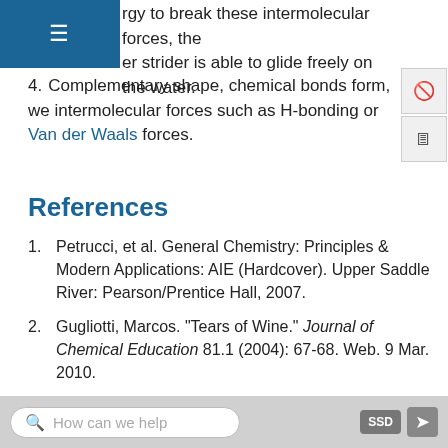rgy to break these intermolecular forces, the er strider is able to glide freely on the water.
4. Complementary shape, chemical bonds form, we intermolecular forces such as H-bonding or Van der Waals forces.
References
1. Petrucci, et al. General Chemistry: Principles & Modern Applications: AIE (Hardcover). Upper Saddle River: Pearson/Prentice Hall, 2007.
2. Gugliotti, Marcos. "Tears of Wine." Journal of Chemical Education 81.1 (2004): 67-68. Web. 9 Mar. 2010.
3. Adamson, A. W.; Gast, A. P. Physical Chemistry of Surfaces, 6th ed.; John Wiley and Sons: New York,
How can we help